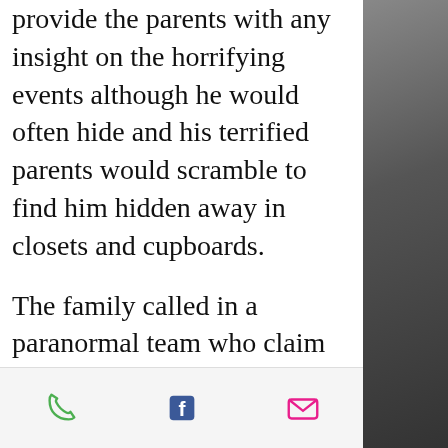provide the parents with any insight on the horrifying events although he would often hide and his terrified parents would scramble to find him hidden away in closets and cupboards.
The family called in a paranormal team who claim the saw the spirit materialize and walk through the home in the dark and described it as a midnight-colored three dimensional evil spirit that was "radiating evil". Its not clear whether the paranormal investigators cleared the house or if the poltergeist activity ceased on